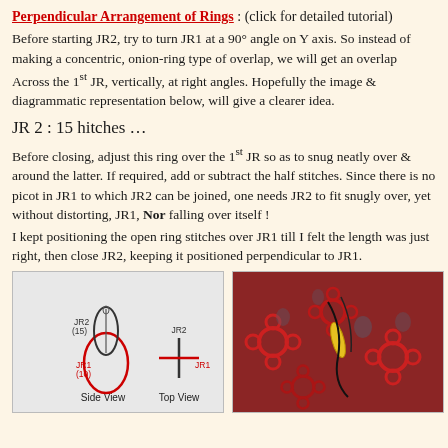Perpendicular Arrangement of Rings : (click for detailed tutorial)
Before starting JR2, try to turn JR1 at a 90° angle on Y axis. So instead of making a concentric, onion-ring type of overlap, we will get an overlap Across the 1st JR, vertically, at right angles. Hopefully the image & diagrammatic representation below, will give a clearer idea.
JR 2 : 15 hitches …
Before closing, adjust this ring over the 1st JR so as to snug neatly over & around the latter. If required, add or subtract the half stitches. Since there is no picot in JR1 to which JR2 can be joined, one needs JR2 to fit snugly over, yet without distorting, JR1, Nor falling over itself ! I kept positioning the open ring stitches over JR1 till I felt the length was just right, then close JR2, keeping it positioned perpendicular to JR1.
[Figure (illustration): Diagram showing Side View and Top View of perpendicular ring arrangement. Side View shows JR2 (15) ring overlapping JR1 (10) ring vertically. Top View shows JR2 as a plus/cross symbol over JR1.]
[Figure (photo): Close-up photo of red tatted lace with yellow thread/shuttle, showing the perpendicular ring arrangement in practice.]